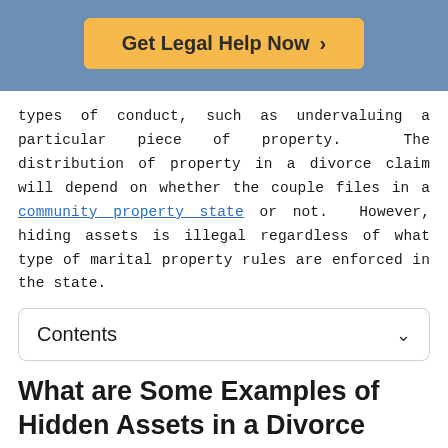[Figure (other): Orange 'Get Legal Help Now >' call-to-action button on blue banner background]
types of conduct, such as undervaluing a particular piece of property.  The distribution of property in a divorce claim will depend on whether the couple files in a community property state or not.  However, hiding assets is illegal regardless of what type of marital property rules are enforced in the state.
Contents
What are Some Examples of Hidden Assets in a Divorce Case?
Some common examples of hidden assets in a divorce